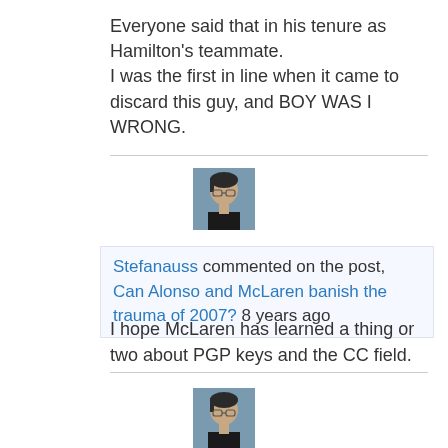Everyone said that in his tenure as Hamilton's teammate.
I was the first in line when it came to discard this guy, and BOY WAS I WRONG.
[Figure (photo): Avatar photo of user Stefanauss — a young man with glasses and dark hair wearing a black shirt, shown from the side]
Stefanauss commented on the post, Can Alonso and McLaren banish the trauma of 2007? 8 years ago
I hope McLaren has learned a thing or two about PGP keys and the CC field.
[Figure (photo): Partial avatar photo of same user at bottom of page]